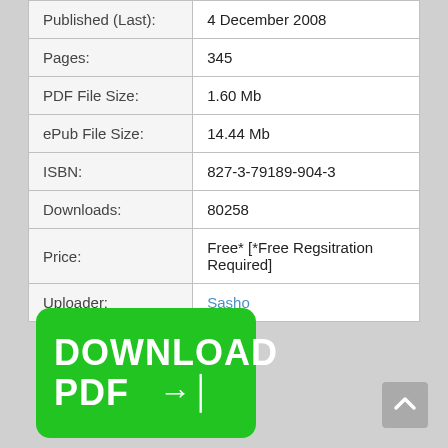| Field | Value |
| --- | --- |
| Published (Last): | 4 December 2008 |
| Pages: | 345 |
| PDF File Size: | 1.60 Mb |
| ePub File Size: | 14.44 Mb |
| ISBN: | 827-3-79189-904-3 |
| Downloads: | 80258 |
| Price: | Free* [*Free Regsitration Required] |
| Uploader: | Sasho |
[Figure (other): Green download button with text DOWNLOAD PDF and arrow icon]